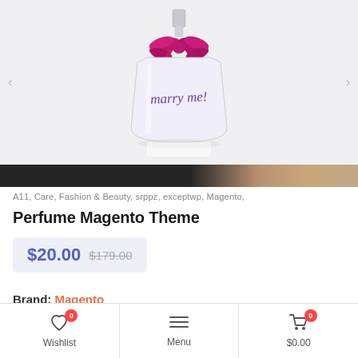[Figure (photo): Perfume bottle with pink/magenta bow and 'marry me!' written in cursive on the bottle, on white background. Navigation arrows on sides. Dark strip at bottom with partial face/hair image.]
A11, Care, Fashion & Beauty, srppz, exceptwp, Magento,
Perfume Magento Theme
$20.00 $179.00
Brand: Magento
Wishlist 0 | Menu | $0.00 0